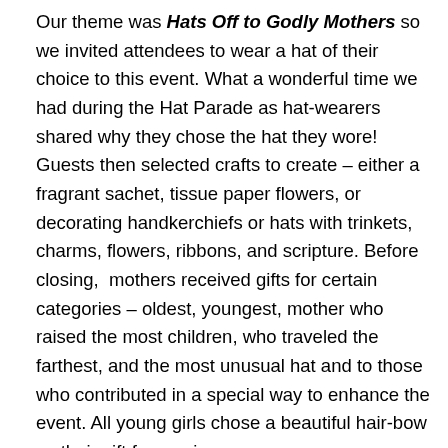Our theme was Hats Off to Godly Mothers so we invited attendees to wear a hat of their choice to this event. What a wonderful time we had during the Hat Parade as hat-wearers shared why they chose the hat they wore! Guests then selected crafts to create – either a fragrant sachet, tissue paper flowers, or decorating handkerchiefs or hats with trinkets, charms, flowers, ribbons, and scripture. Before closing,  mothers received gifts for certain categories – oldest, youngest, mother who raised the most children, who traveled the farthest, and the most unusual hat and to those who contributed in a special way to enhance the event. All young girls chose a beautiful hair-bow as their gift for coming.
Men served the meal, and did a truly wonderful job in assisting women with drinks at the tables and helping them carry their trays of food. These men enjoyed their